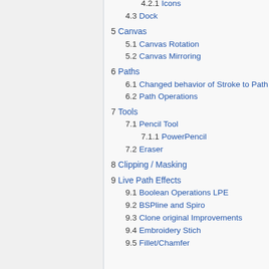4.2.1  Icons
4.3  Dock
5  Canvas
5.1  Canvas Rotation
5.2  Canvas Mirroring
6  Paths
6.1  Changed behavior of Stroke to Path
6.2  Path Operations
7  Tools
7.1  Pencil Tool
7.1.1  PowerPencil
7.2  Eraser
8  Clipping / Masking
9  Live Path Effects
9.1  Boolean Operations LPE
9.2  BSPline and Spiro
9.3  Clone original Improvements
9.4  Embroidery Stich
9.5  Fillet/Chamfer